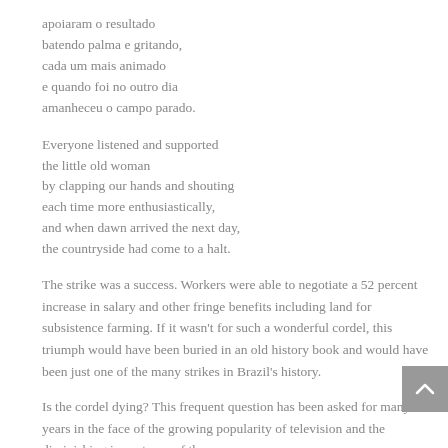apoiaram o resultado
batendo palma e gritando,
cada um mais animado
e quando foi no outro dia
amanheceu o campo parado.
Everyone listened and supported
the little old woman
by clapping our hands and shouting
each time more enthusiastically,
and when dawn arrived the next day,
the countryside had come to a halt.
The strike was a success. Workers were able to negotiate a 52 percent increase in salary and other fringe benefits including land for subsistence farming. If it wasn't for such a wonderful cordel, this triumph would have been buried in an old history book and would have been just one of the many strikes in Brazil's history.
Is the cordel dying? This frequent question has been asked for many years in the face of the growing popularity of television and the diminishing importance of the